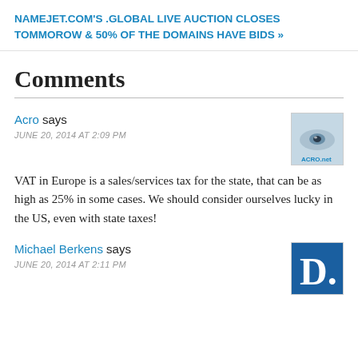NAMEJET.COM'S .GLOBAL LIVE AUCTION CLOSES TOMMOROW & 50% OF THE DOMAINS HAVE BIDS »
Comments
Acro says
JUNE 20, 2014 AT 2:09 PM
VAT in Europe is a sales/services tax for the state, that can be as high as 25% in some cases. We should consider ourselves lucky in the US, even with state taxes!
Michael Berkens says
JUNE 20, 2014 AT 2:11 PM